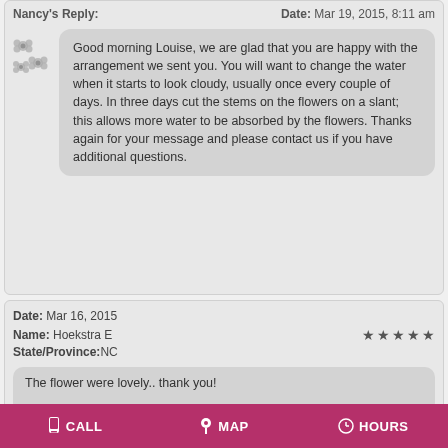Nancy's Reply:
Date: Mar 19, 2015, 8:11 am
Good morning Louise, we are glad that you are happy with the arrangement we sent you. You will want to change the water when it starts to look cloudy, usually once every couple of days. In three days cut the stems on the flowers on a slant; this allows more water to be absorbed by the flowers. Thanks again for your message and please contact us if you have additional questions.
Date: Mar 16, 2015
Name: Hoekstra E
State/Province:NC
The flower were lovely.. thank you!
CALL  MAP  HOURS